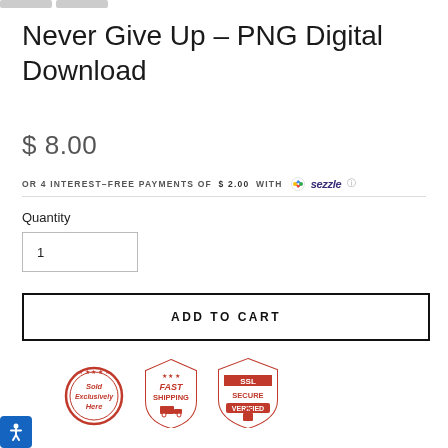Never Give Up – PNG Digital Download
$ 8.00
OR 4 INTEREST-FREE PAYMENTS OF $ 2.00 WITH ⓘ sezzle
Quantity
1
ADD TO CART
[Figure (logo): Three trust badges: 'Sold Exclusively Here' (red stamp), 'Fast Shipping' (red shield), 'SSL Secure Verified' (red shield)]